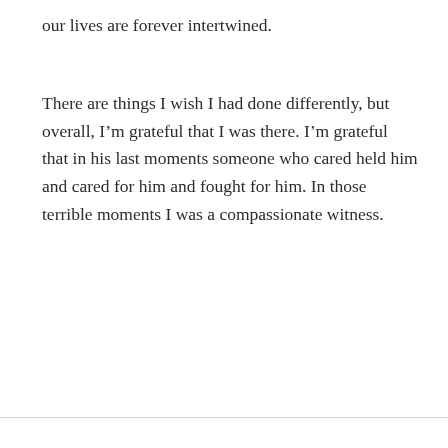our lives are forever intertwined.
There are things I wish I had done differently, but overall, I’m grateful that I was there. I’m grateful that in his last moments someone who cared held him and cared for him and fought for him. In those terrible moments I was a compassionate witness.